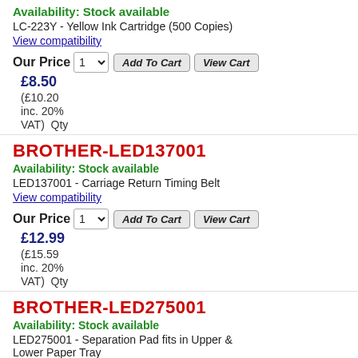Availability: Stock available
LC-223Y - Yellow Ink Cartridge (500 Copies)
View compatibility
Our Price  1  Add To Cart  View Cart  £8.50  (£10.20 inc. 20% VAT)  Qty
BROTHER-LED137001
Availability: Stock available
LED137001 - Carriage Return Timing Belt
View compatibility
Our Price  1  Add To Cart  View Cart  £12.99  (£15.59 inc. 20% VAT)  Qty
BROTHER-LED275001
Availability: Stock available
LED275001 - Separation Pad fits in Upper & Lower Paper Tray
View compatibility
Our Price  1  Add To Cart  View Cart  £8.99